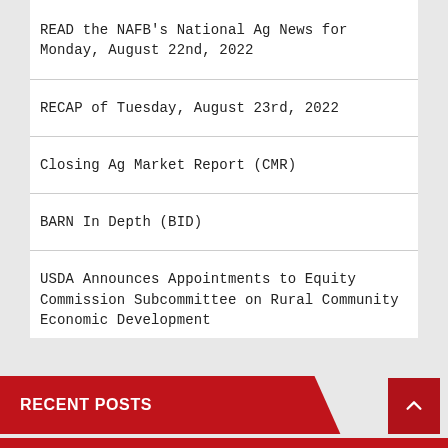READ the NAFB's National Ag News for Monday, August 22nd, 2022
RECAP of Tuesday, August 23rd, 2022
Closing Ag Market Report (CMR)
BARN In Depth (BID)
USDA Announces Appointments to Equity Commission Subcommittee on Rural Community Economic Development
RECENT POSTS